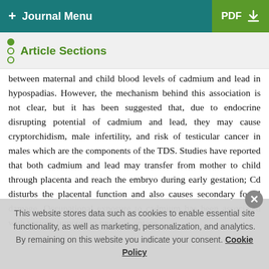+ Journal Menu   PDF ↓
Article Sections
between maternal and child blood levels of cadmium and lead in hypospadias. However, the mechanism behind this association is not clear, but it has been suggested that, due to endocrine disrupting potential of cadmium and lead, they may cause cryptorchidism, male infertility, and risk of testicular cancer in males which are the components of the TDS. Studies have reported that both cadmium and lead may transfer from mother to child through placenta and reach the embryo during early gestation; Cd disturbs the placental function and also causes secondary foetal damage. Occupational exposure to cadmium has been associated with various tumours in multiple organs including...
This website stores data such as cookies to enable essential site functionality, as well as marketing, personalization, and analytics. By remaining on this website you indicate your consent. Cookie Policy